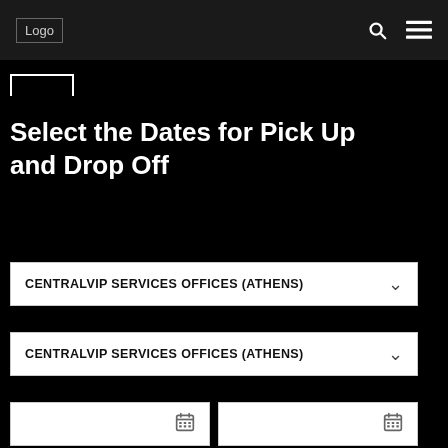Logo
Select the Dates for Pick Up and Drop Off
CENTRALVIP SERVICES OFFICES (ATHENS)
CENTRALVIP SERVICES OFFICES (ATHENS)